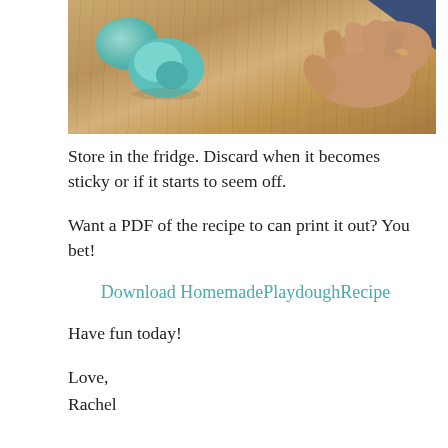[Figure (photo): Photograph of hands pressing teal/green playdough on a wooden cutting board surface]
Store in the fridge. Discard when it becomes sticky or if it starts to seem off.
Want a PDF of the recipe to can print it out? You bet!
Download HomemadePlaydoughRecipe
Have fun today!
Love,
Rachel